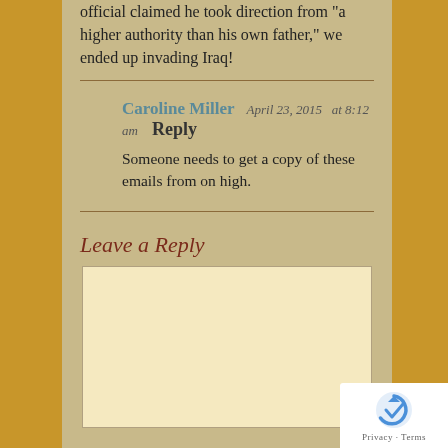official claimed he took direction from "a higher authority than his own father," we ended up invading Iraq!
Caroline Miller  April 23, 2015  at 8:12 am  Reply
Someone needs to get a copy of these emails from on high.
Leave a Reply
[Figure (other): Text input area for leaving a reply comment]
[Figure (other): reCAPTCHA badge with privacy and terms links]